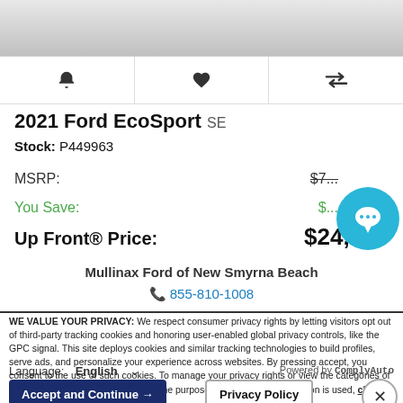[Figure (screenshot): Gray top banner area of car listing page]
[Figure (screenshot): Icon bar with bell (alert), heart (favorite), and compare arrows icons]
2021 Ford EcoSport SE
Stock: P449963
MSRP: $7...
You Save: $...
Up Front® Price: $24,205
Mullinax Ford of New Smyrna Beach
855-810-1008
[Figure (illustration): Blue circular chat bubble button]
WE VALUE YOUR PRIVACY: We respect consumer privacy rights by letting visitors opt out of third-party tracking cookies and honoring user-enabled global privacy controls, like the GPC signal. This site deploys cookies and similar tracking technologies to build profiles, serve ads, and personalize your experience across websites. By pressing accept, you consent to the use of such cookies. To manage your privacy rights or view the categories of personal information we collect and the purposes for which the information is used, click here.
Language: English
Powered by ComplyAuto
Accept and Continue →
Privacy Policy